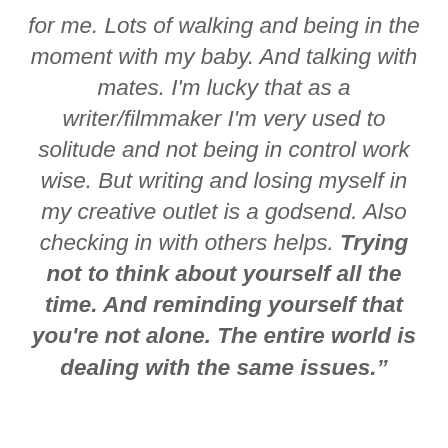for me. Lots of walking and being in the moment with my baby. And talking with mates. I'm lucky that as a writer/filmmaker I'm very used to solitude and not being in control work wise. But writing and losing myself in my creative outlet is a godsend. Also checking in with others helps. Trying not to think about yourself all the time. And reminding yourself that you're not alone. The entire world is dealing with the same issues.”